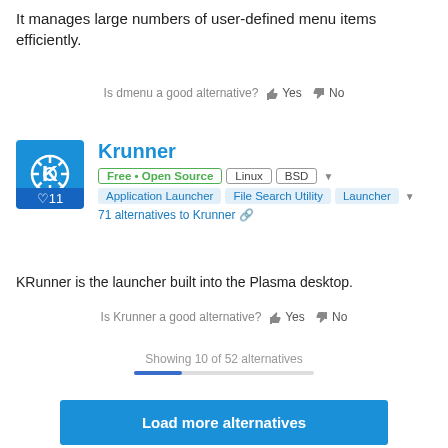It manages large numbers of user-defined menu items efficiently.
Is dmenu a good alternative? 👍 Yes 👎 No
Krunner
Free • Open Source  Linux  BSD  Application Launcher  File Search Utility  Launcher
71 alternatives to Krunner
KRunner is the launcher built into the Plasma desktop.
Is Krunner a good alternative? 👍 Yes 👎 No
Showing 10 of 52 alternatives
Load more alternatives